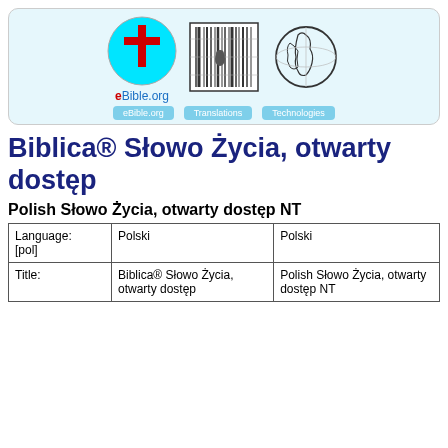[Figure (screenshot): eBible.org website header with three logos: a cyan circle with red cross and eBible.org text, a barcode/grid image, and a globe illustration. Below are navigation buttons: eBible.org, Translations, Technologies.]
Biblica® Słowo Życia, otwarty dostęp
Polish Słowo Życia, otwarty dostęp NT
|  | Col 1 | Col 2 |
| --- | --- | --- |
| Language: [pol] | Polski | Polski |
| Title: | Biblica® Słowo Życia, otwarty dostep | Polish Słowo Życia, otwarty dostep NT |